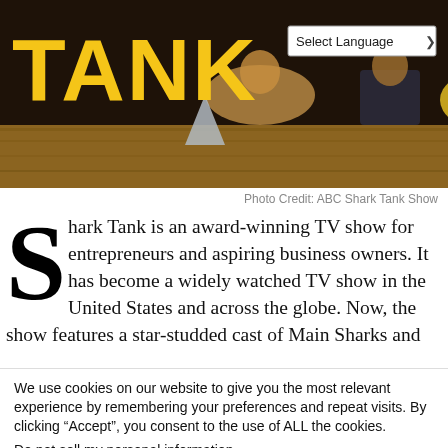[Figure (photo): Header image of Shark Tank TV show with yellow TANK text on left, cast members seated on a couch in a studio setting with a wooden floor, and a Select Language dropdown in the top right]
Photo Credit: ABC Shark Tank Show
Shark Tank is an award-winning TV show for entrepreneurs and aspiring business owners. It has become a widely watched TV show in the United States and across the globe. Now, the show features a star-studded cast of Main Sharks and
We use cookies on our website to give you the most relevant experience by remembering your preferences and repeat visits. By clicking “Accept”, you consent to the use of ALL the cookies.
Do not sell my personal information.
Cookie Settings
Accept